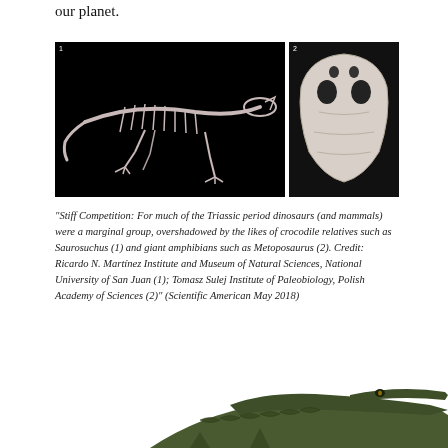our planet.
[Figure (photo): Two photos side by side on black backgrounds: (1) skeleton of Saurosuchus crocodile relative in lateral view, (2) white/grey triangular skull of Metoposaurus giant amphibian in dorsal view. Small numbers 1 and 2 label the respective images.]
“Stiff Competition: For much of the Triassic period dinosaurs (and mammals) were a marginal group, overshadowed by the likes of crocodile relatives such as Saurosuchus (1) and giant amphibians such as Metoposaurus (2). Credit: Ricardo N. Martínez Institute and Museum of Natural Sciences, National University of San Juan (1); Tomasz Sulej Institute of Paleobiology, Polish Academy of Sciences (2)” (Scientific American May 2018)
[Figure (photo): Bottom portion of a crocodile or crocodilian photograph, showing the head and body against a white background, partially cut off by the bottom of the page.]